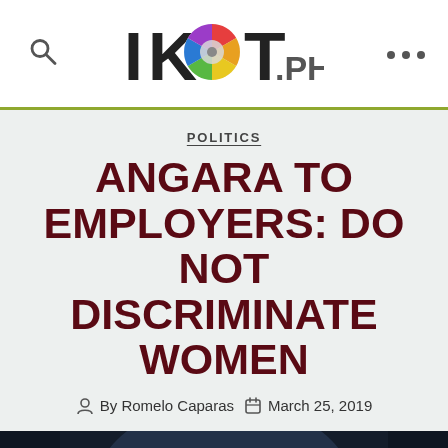IKOT.PH
POLITICS
ANGARA TO EMPLOYERS: DO NOT DISCRIMINATE WOMEN
By Romelo Caparas   March 25, 2019
[Figure (photo): Black and white photo of a man speaking at a microphone, cropped to show head and upper torso against a dark background]